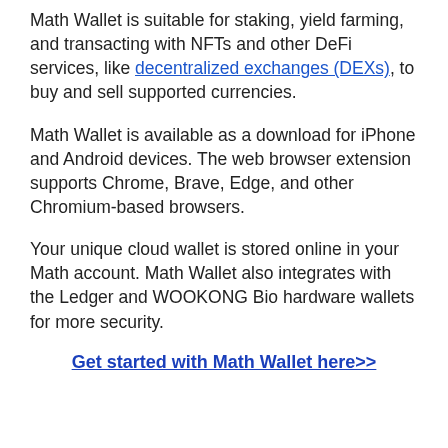Math Wallet is suitable for staking, yield farming, and transacting with NFTs and other DeFi services, like decentralized exchanges (DEXs), to buy and sell supported currencies.
Math Wallet is available as a download for iPhone and Android devices. The web browser extension supports Chrome, Brave, Edge, and other Chromium-based browsers.
Your unique cloud wallet is stored online in your Math account. Math Wallet also integrates with the Ledger and WOOKONG Bio hardware wallets for more security.
Get started with Math Wallet here>>